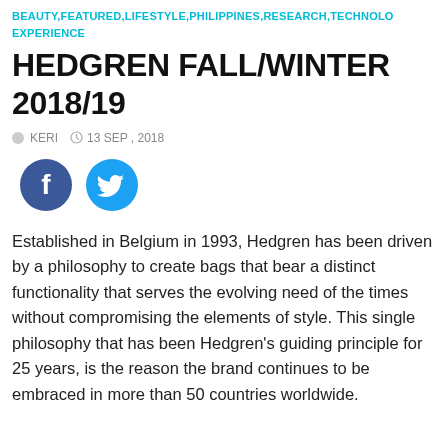BEAUTY,FEATURED,LIFESTYLE,PHILIPPINES,RESEARCH,TECHNOLOGY,EXPERIENCE
HEDGREN FALL/WINTER 2018/19
KERI  13 SEP , 2018
[Figure (illustration): Facebook and Twitter social share icons]
Established in Belgium in 1993, Hedgren has been driven by a philosophy to create bags that bear a distinct functionality that serves the evolving need of the times without compromising the elements of style. This single philosophy that has been Hedgren's guiding principle for 25 years, is the reason the brand continues to be embraced in more than 50 countries worldwide.